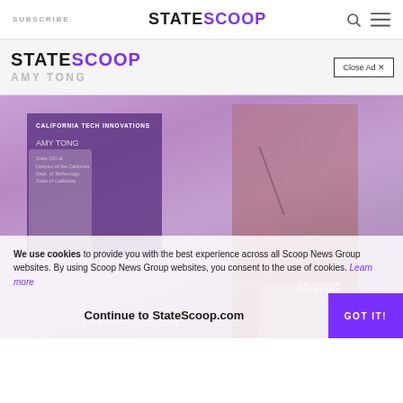SUBSCRIBE  STATESCOOP
[Figure (screenshot): StateScoop website screenshot showing Amy Tong page with advertisement banner displaying StateScoop logo and 'Close Ad x' button, a photo of Amy Tong speaking at a California Tech Innovations event at a podium on a purple-lit stage, cookie consent overlay, and 'Continue to StateScoop.com' / 'GOT IT!' bar.]
We use cookies to provide you with the best experience across all Scoop News Group websites. By using Scoop News Group websites, you consent to the use of cookies. Learn more
Continue to StateScoop.com
GOT IT!